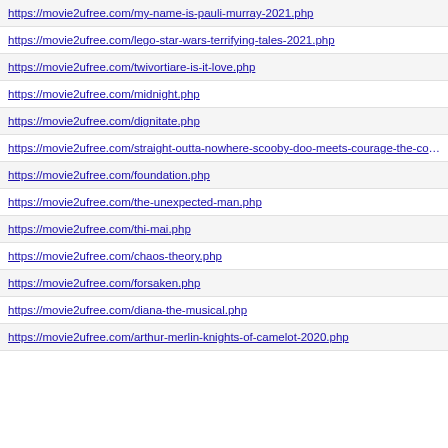https://movie2ufree.com/my-name-is-pauli-murray-2021.php
https://movie2ufree.com/lego-star-wars-terrifying-tales-2021.php
https://movie2ufree.com/twivortiare-is-it-love.php
https://movie2ufree.com/midnight.php
https://movie2ufree.com/dignitate.php
https://movie2ufree.com/straight-outta-nowhere-scooby-doo-meets-courage-the-cowardly-dog-202
https://movie2ufree.com/foundation.php
https://movie2ufree.com/the-unexpected-man.php
https://movie2ufree.com/thi-mai.php
https://movie2ufree.com/chaos-theory.php
https://movie2ufree.com/forsaken.php
https://movie2ufree.com/diana-the-musical.php
https://movie2ufree.com/arthur-merlin-knights-of-camelot-2020.php